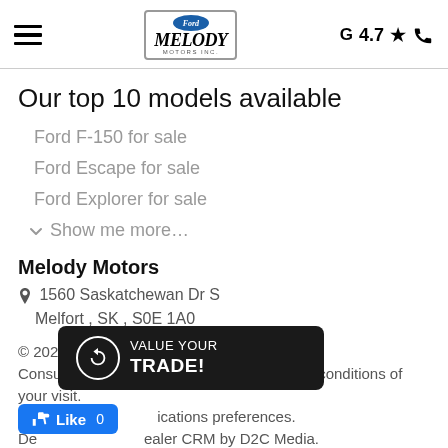Melody Motors Inc. — G 4.7★ — Phone
Our top 10 models available
Ford F-150 for sale
Ford Escape for sale
Ford Explorer for sale
Show me more...
Melody Motors
1560 Saskatchewan Dr S
Melfort , SK , S0E 1A0
© 2022 Melody Motors. All rights reserved.
Consult our privacy policy and the terms and conditions of your visit.
Modify your communications preferences.
Dealer website & dealer CRM by D2C Media.
Member of the Trubaine network.
[Figure (other): VALUE YOUR TRADE! badge/button — black rounded rectangle with circular refresh icon and white text]
[Figure (other): Facebook Like button — blue rounded rectangle with thumbs up icon and 'Like 0' text]